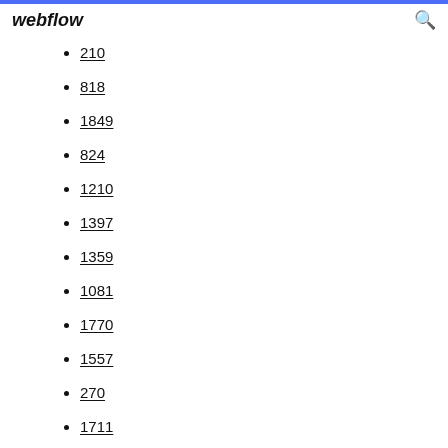webflow
210
818
1849
824
1210
1397
1359
1081
1770
1557
270
1711
334